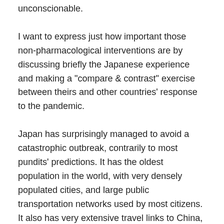unconscionable.
I want to express just how important those non-pharmacological interventions are by discussing briefly the Japanese experience and making a “compare & contrast” exercise between theirs and other countries’ response to the pandemic.
Japan has surprisingly managed to avoid a catastrophic outbreak, contrarily to most pundits’ predictions. It has the oldest population in the world, with very densely populated cities, and large public transportation networks used by most citizens. It also has very extensive travel links to China, so it is impossible to think that it was not seeded early in the pandemic.
Japan did not perform mass testing of its citizenship, like South Korea, nor did it impose restrictive lockdowns (hairdressers and restaurants have been kept open: for those who know me, I do care way more about the latter than the former, but not everybody is as follicularly challenged as I am). According to